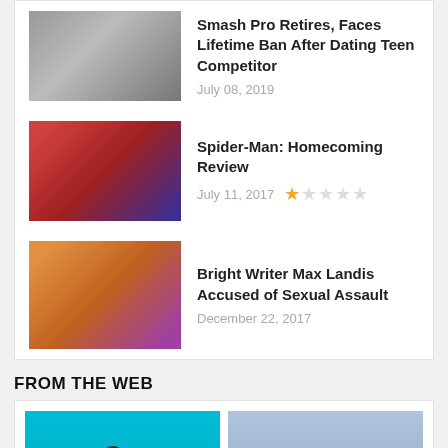Smash Pro Retires, Faces Lifetime Ban After Dating Teen Competitor — July 08, 2019
Spider-Man: Homecoming Review — July 11, 2017 — 1 star out of 5
Bright Writer Max Landis Accused of Sexual Assault — December 22, 2017
FROM THE WEB
[Figure (photo): Two web article thumbnail images side by side: left shows a PS5 console on teal background, right shows a person wearing a medieval knight helmet]